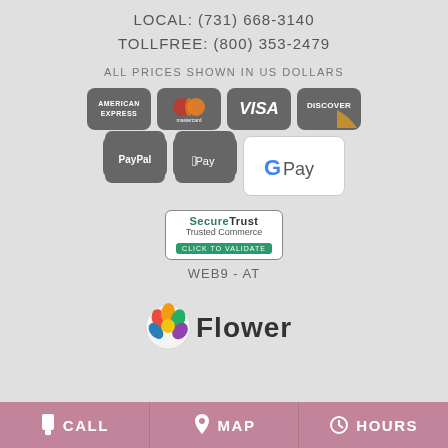LOCAL: (731) 668-3140
TOLLFREE: (800) 353-2479
ALL PRICES SHOWN IN US DOLLARS
[Figure (logo): Payment method logos: American Express, Mastercard, Visa, Discover, PayPal, Apple Pay, Google Pay]
[Figure (logo): SecureTrust Trusted Commerce - CLICK TO VALIDATE badge]
WEB9 - AT
[Figure (logo): Flower shop logo - partial, colorful Flower text with plant graphic]
CALL   MAP   HOURS